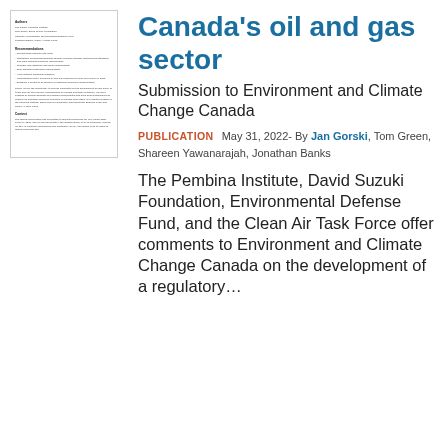[Figure (other): Thumbnail preview of the document, showing a miniaturized version of the report with small text sections including Authors, Recommendations, Contact, and Context.]
Canada's oil and gas sector
Submission to Environment and Climate Change Canada
PUBLICATION  May 31, 2022- By Jan Gorski, Tom Green, Shareen Yawanarajah, Jonathan Banks
The Pembina Institute, David Suzuki Foundation, Environmental Defense Fund, and the Clean Air Task Force offer comments to Environment and Climate Change Canada on the development of a regulatory...